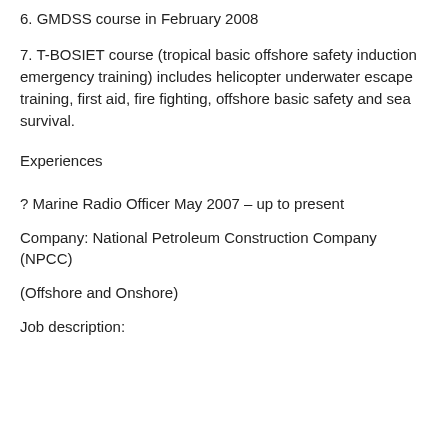6. GMDSS course in February 2008
7. T-BOSIET course (tropical basic offshore safety induction emergency training) includes helicopter underwater escape training, first aid, fire fighting, offshore basic safety and sea survival.
Experiences
? Marine Radio Officer May 2007 – up to present
Company: National Petroleum Construction Company (NPCC)
(Offshore and Onshore)
Job description: